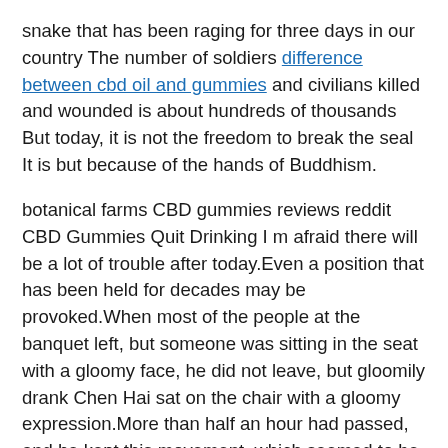snake that has been raging for three days in our country The number of soldiers difference between cbd oil and gummies and civilians killed and wounded is about hundreds of thousands But today, it is not the freedom to break the seal It is but because of the hands of Buddhism.
botanical farms CBD gummies reviews reddit CBD Gummies Quit Drinking I m afraid there will be a lot of trouble after today.Even a position that has been held for decades may be provoked.When most of the people at the banquet left, but someone was sitting in the seat with a gloomy face, he did not leave, but gloomily drank Chen Hai sat on the chair with a gloomy expression.More than half an hour had passed, and he kept this movement, which seemed to be irritating enough After adjusting the breath for a long time, Liu Yunlong, CBD Gummies Quit Drinking who finally had three point strength, flashed a cold light in his eyes and walked to Chen Hai s side to ask.Mr.Chen, I don t think you should have too much pressure.Zhang Fan is just an ordinary person after CBD Gummies Quit Drinking all.I can t feel any strong aura from him That Shushan older is even more unlikely to keep his eyes on this city.Even if he